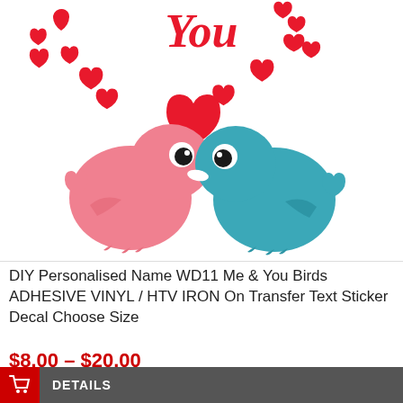[Figure (illustration): Product image showing two cartoon love birds (pink and teal) facing each other with red hearts and cursive 'You' text above on white background]
DIY Personalised Name WD11 Me & You Birds ADHESIVE VINYL / HTV IRON On Transfer Text Sticker Decal Choose Size
$8.00 – $20.00
DETAILS